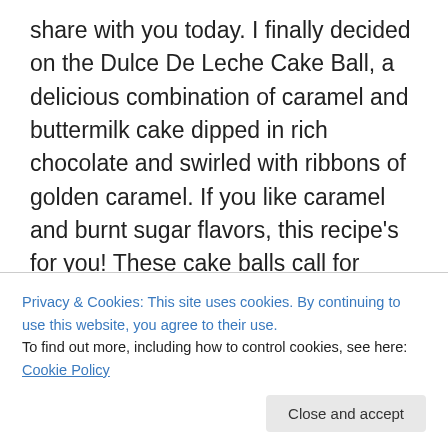share with you today. I finally decided on the Dulce De Leche Cake Ball, a delicious combination of caramel and buttermilk cake dipped in rich chocolate and swirled with ribbons of golden caramel. If you like caramel and burnt sugar flavors, this recipe's for you! These cake balls call for dulce de leche. You can easily make your own or purchase a can from the Spanish foods section of your local supermarket. Everything you love about cake is right in this little bite, plus it is covered in chocolate and drizzled with caramel-you can't go wrong! Making these cake balls couldn't be easier either. Just crumble the made from
Privacy & Cookies: This site uses cookies. By continuing to use this website, you agree to their use. To find out more, including how to control cookies, see here: Cookie Policy